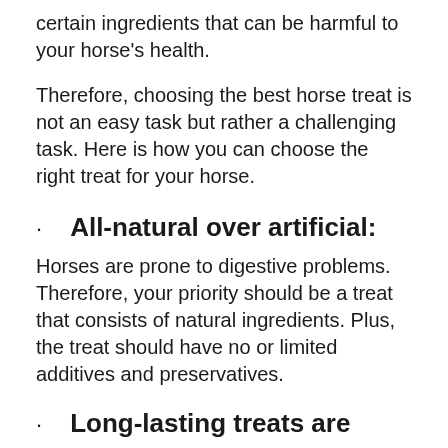certain ingredients that can be harmful to your horse's health.
Therefore, choosing the best horse treat is not an easy task but rather a challenging task. Here is how you can choose the right treat for your horse.
· All-natural over artificial:
Horses are prone to digestive problems. Therefore, your priority should be a treat that consists of natural ingredients. Plus, the treat should have no or limited additives and preservatives.
· Long-lasting treats are